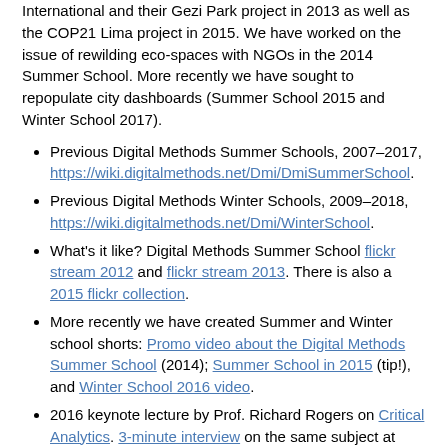International and their Gezi Park project in 2013 as well as the COP21 Lima project in 2015. We have worked on the issue of rewilding eco-spaces with NGOs in the 2014 Summer School. More recently we have sought to repopulate city dashboards (Summer School 2015 and Winter School 2017).
Previous Digital Methods Summer Schools, 2007–2017, https://wiki.digitalmethods.net/Dmi/DmiSummerSchool.
Previous Digital Methods Winter Schools, 2009–2018, https://wiki.digitalmethods.net/Dmi/WinterSchool.
What's it like? Digital Methods Summer School flickr stream 2012 and flickr stream 2013. There is also a 2015 flickr collection.
More recently we have created Summer and Winter school shorts: Promo video about the Digital Methods Summer School (2014); Summer School in 2015 (tip!), and Winter School 2016 video.
2016 keynote lecture by Prof. Richard Rogers on Critical Analytics. 3-minute interview on the same subject at Johns Hopkins Bologna (2018)
About Digital Methods as a Concept